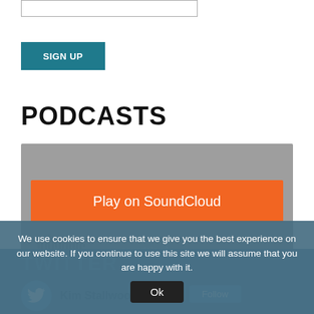[Figure (screenshot): Text input box at top of page]
SIGN UP
PODCASTS
[Figure (screenshot): SoundCloud embedded player with orange Play on SoundCloud button, waveform, Listen in browser button, and Privacy policy link]
We use cookies to ensure that we give you the best experience on our website. If you continue to use this site we will assume that you are happy with it.
Ok
TWITTER
Kim Stallwood
Follow